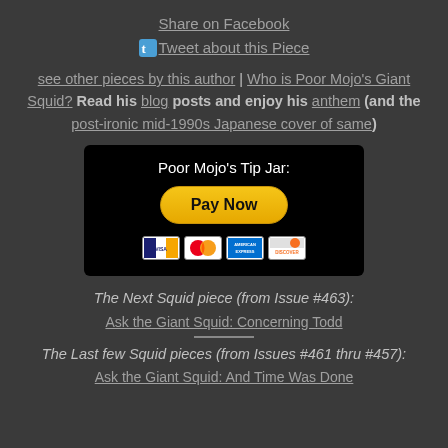Share on Facebook
Tweet about this Piece
see other pieces by this author | Who is Poor Mojo's Giant Squid? Read his blog posts and enjoy his anthem (and the post-ironic mid-1990s Japanese cover of same)
[Figure (other): Poor Mojo's Tip Jar PayPal donation widget with Pay Now button and credit card icons (Visa, Mastercard, Amex, Discover)]
The Next Squid piece (from Issue #463):
Ask the Giant Squid: Concerning Todd
The Last few Squid pieces (from Issues #461 thru #457):
Ask the Giant Squid: And Time Was Done